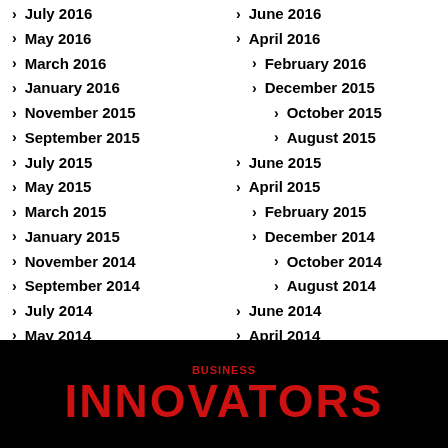July 2016
June 2016
May 2016
April 2016
March 2016
February 2016
January 2016
December 2015
November 2015
October 2015
September 2015
August 2015
July 2015
June 2015
May 2015
April 2015
March 2015
February 2015
January 2015
December 2014
November 2014
October 2014
September 2014
August 2014
July 2014
June 2014
May 2014
April 2014
Business Innovators